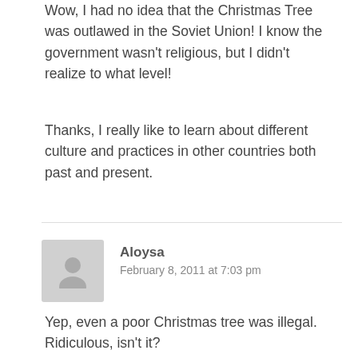Wow, I had no idea that the Christmas Tree was outlawed in the Soviet Union! I know the government wasn't religious, but I didn't realize to what level!
Thanks, I really like to learn about different culture and practices in other countries both past and present.
Aloysa
February 8, 2011 at 7:03 pm
Yep, even a poor Christmas tree was illegal. Ridiculous, isn't it?
Invest It Wisely